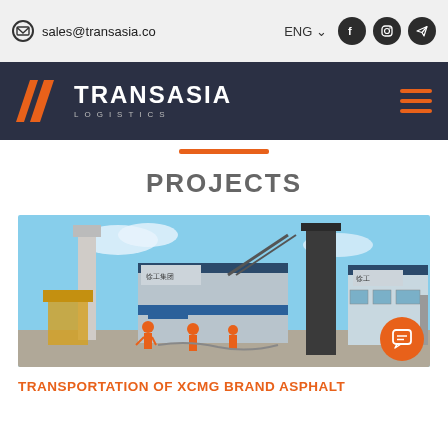sales@transasia.co | ENG
[Figure (logo): TRANSASIA LOGISTICS logo with orange arrow/chevron icon on dark navy background, with hamburger menu icon in orange on right]
[Figure (photo): Construction site photo showing XCMG brand asphalt mixing plant equipment — large industrial machinery including silos, conveyor systems, and buildings with workers in orange vests visible in foreground]
PROJECTS
TRANSPORTATION OF XCMG BRAND ASPHALT